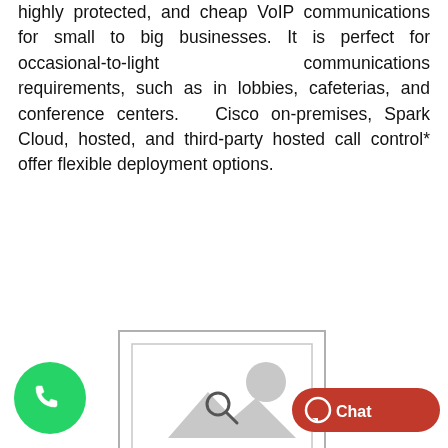highly protected, and cheap VoIP communications for small to big businesses. It is perfect for occasional-to-light communications requirements, such as in lobbies, cafeterias, and conference centers. Cisco on-premises, Spark Cloud, hosted, and third-party hosted call control* offer flexible deployment options.
[Figure (illustration): Image placeholder graphic — grey bordered rectangle with a mountain/landscape thumbnail icon inside]
[Figure (other): WhatsApp floating button (green circle with phone handset icon), search icon, partial reCAPTCHA badge, and orange Chat button with speech bubble icon — UI overlay elements at the bottom of the page]